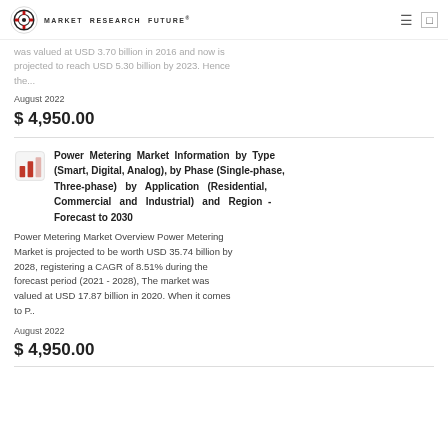MARKET RESEARCH FUTURE
was valued at USD 3.70 billion in 2016 and now is projected to reach USD 5.30 billion by 2023. Hence the...
August 2022
$ 4,950.00
Power Metering Market Information by Type (Smart, Digital, Analog), by Phase (Single-phase, Three-phase) by Application (Residential, Commercial and Industrial) and Region - Forecast to 2030
Power Metering Market Overview Power Metering Market is projected to be worth USD 35.74 billion by 2028, registering a CAGR of 8.51% during the forecast period (2021 - 2028), The market was valued at USD 17.87 billion in 2020. When it comes to P..
August 2022
$ 4,950.00